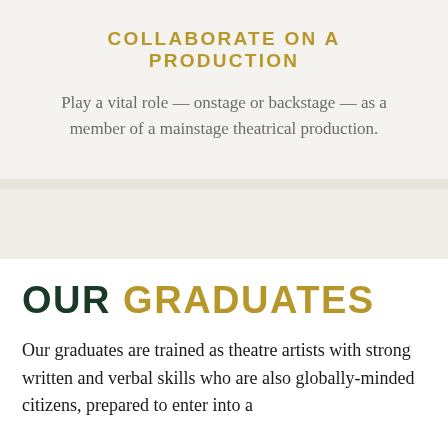COLLABORATE ON A PRODUCTION
Play a vital role — onstage or backstage — as a member of a mainstage theatrical production.
OUR GRADUATES
Our graduates are trained as theatre artists with strong written and verbal skills who are also globally-minded citizens, prepared to enter into a